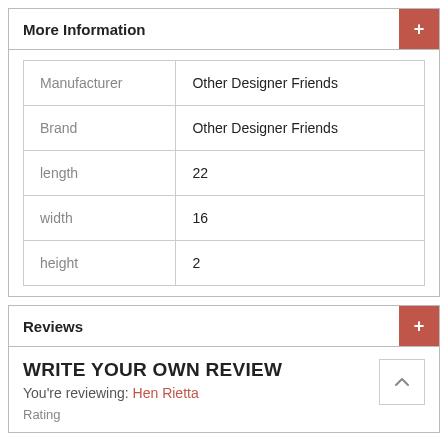More Information
| Manufacturer | Other Designer Friends |
| Brand | Other Designer Friends |
| length | 22 |
| width | 16 |
| height | 2 |
Reviews
WRITE YOUR OWN REVIEW
You're reviewing: Hen Rietta
Rating